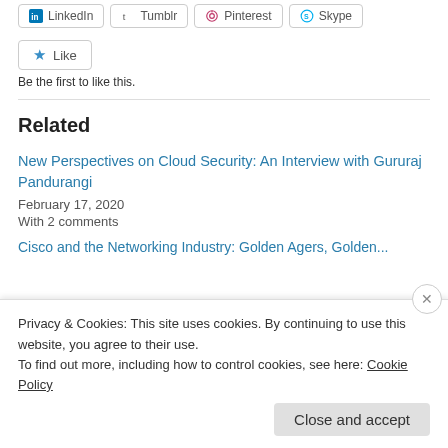LinkedIn, Tumblr, Pinterest, Skype (social share buttons)
Like
Be the first to like this.
Related
New Perspectives on Cloud Security: An Interview with Gururaj Pandurangi
February 17, 2020
With 2 comments
Privacy & Cookies: This site uses cookies. By continuing to use this website, you agree to their use.
To find out more, including how to control cookies, see here: Cookie Policy